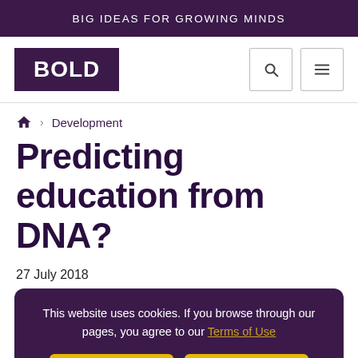BIG IDEAS FOR GROWING MINDS
[Figure (logo): BOLD logo - white bold text on dark purple background, with search and hamburger menu icons on the right]
Home > Development
Predicting education from DNA?
27 July 2018
This website uses cookies. If you browse through our pages, you agree to our Terms of Use
Accept | Reject